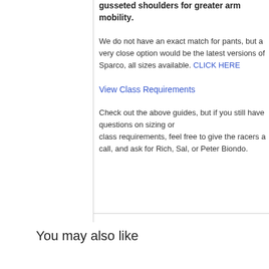gusseted shoulders for greater arm mobility.
We do not have an exact match for pants, but a very close option would be the latest versions of Sparco, all sizes available. CLICK HERE
View Class Requirements
Check out the above guides, but if you still have questions on sizing or class requirements, feel free to give the racers a call, and ask for Rich, Sal, or Peter Biondo.
You may also like